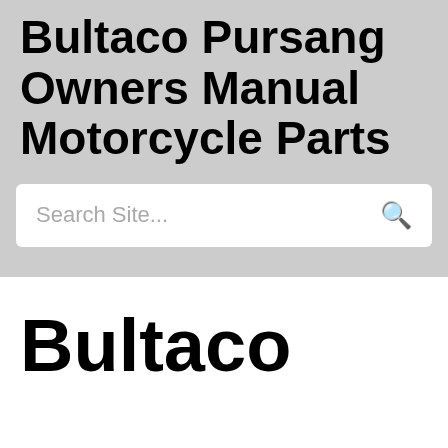Bultaco Pursang Owners Manual Motorcycle Parts
Search Site...
Bultaco Pursang